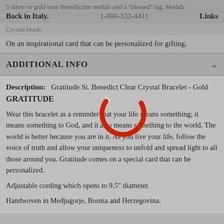5 silver or gold tone Benedictine medals and a "blessed" tag. Medals
Back    1-800-333-4411    Links
Crystal beads
On an inspirational card that can be personalized for gifting.
ADDITIONAL INFO
Description:   Gratitude St. Benedict Clear Crystal Bracelet - Gold GRATITUDE
Wear this bracelet as a reminder that your life means something; it means something to God, and it also means something to the world. The world is better because you are in it. As you live your life, follow the voice of truth and allow your uniqueness to unfold and spread light to all those around you. Gratitude comes on a special card that can be personalized.
Adjustable cording which opens to 9.5" diameter.
Handwoven in Medjugorje, Bosnia and Herzegovina.